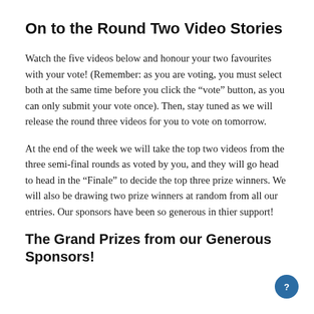On to the Round Two Video Stories
Watch the five videos below and honour your two favourites with your vote! (Remember: as you are voting, you must select both at the same time before you click the “vote” button, as you can only submit your vote once). Then, stay tuned as we will release the round three videos for you to vote on tomorrow.
At the end of the week we will take the top two videos from the three semi-final rounds as voted by you, and they will go head to head in the “Finale” to decide the top three prize winners. We will also be drawing two prize winners at random from all our entries. Our sponsors have been so generous in thier support!
The Grand Prizes from our Generous Sponsors!